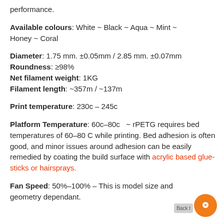performance.
Available colours: White ~ Black ~ Aqua ~ Mint ~ Honey ~ Coral
Diameter: 1.75 mm. ±0.05mm / 2.85 mm. ±0.07mm
Roundness: ≥98%
Net filament weight: 1KG
Filament length: ~357m / ~137m
Print temperature: 230c – 245c
Platform Temperature: 60c–80c  ~ rPETG requires bed temperatures of 60–80 C while printing. Bed adhesion is often good, and minor issues around adhesion can be easily remedied by coating the build surface with acrylic based glue-sticks or hairsprays.
Fan Speed: 50%–100% – This is model size and geometry dependant.